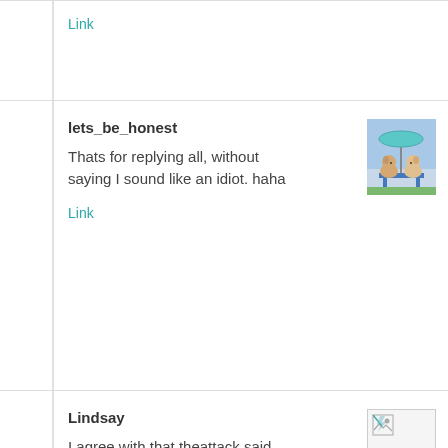Link
lets_be_honest
Thats for replying all, without saying I sound like an idiot. haha
Link
[Figure (photo): Avatar image of two puppies sitting together outdoors]
Lindsay
I agree with that theattack said. Drinking certain amounts of alcohol does
[Figure (photo): Broken/missing avatar image placeholder]
increase the risk of some health problems, but each individual has to determine how it